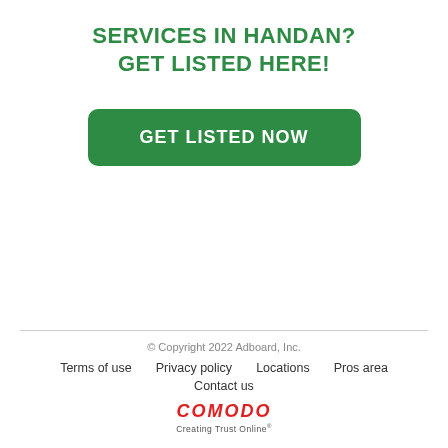SERVICES IN HANDAN?
GET LISTED HERE!
[Figure (other): Green rounded button with white bold text reading 'GET LISTED NOW']
© Copyright 2022 Adboard, Inc.
Terms of use   Privacy policy   Locations   Pros area
Contact us
COMODO Creating Trust Online®